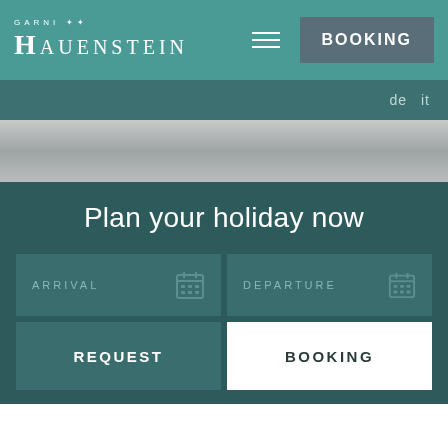GARNI HAUENSTEIN
de  it
[Figure (screenshot): Gray faded background image strip]
Plan your holiday now
ARRIVAL
DEPARTURE
REQUEST
BOOKING